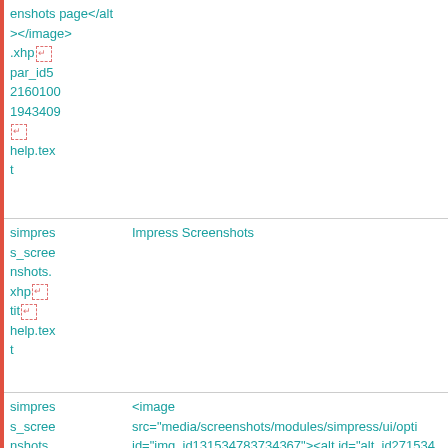| File | Content |
| --- | --- |
| enshots page</alt></antml:image>
.xhp↵
par_id5
2160100
1943409
↵
help.text |  |
| simpres s_scree nshots. xhp↵ tit↵ help.text | Impress Screenshots |
| simpres s_scree nshots. | <image src="media/screenshots/modules/simpress/ui/opti id="img_id131534783734367"><alt id="alt_id271534 |